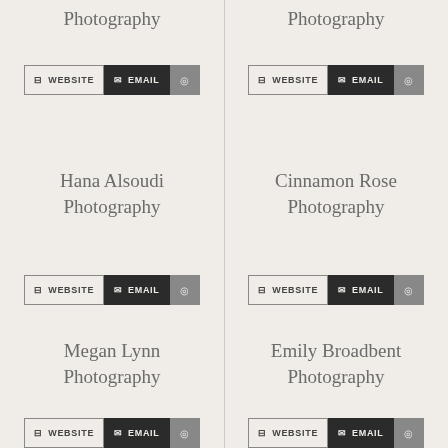Photography
Photography
WEBSITE | EMAIL | (circle button)
WEBSITE | EMAIL | (circle button)
Hana Alsoudi Photography
WEBSITE | EMAIL | (circle button)
Cinnamon Rose Photography
WEBSITE | EMAIL | (circle button)
Megan Lynn Photography
WEBSITE | EMAIL | (circle button)
Emily Broadbent Photography
WEBSITE | EMAIL | (circle button)
The Photo Bus KC
Cassy Miann